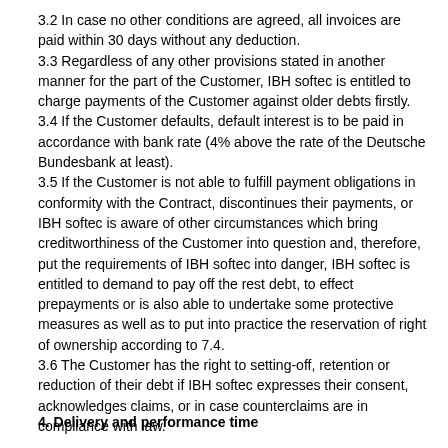3.2 In case no other conditions are agreed, all invoices are paid within 30 days without any deduction.
3.3 Regardless of any other provisions stated in another manner for the part of the Customer, IBH softec is entitled to charge payments of the Customer against older debts firstly.
3.4 If the Customer defaults, default interest is to be paid in accordance with bank rate (4% above the rate of the Deutsche Bundesbank at least).
3.5 If the Customer is not able to fulfill payment obligations in conformity with the Contract, discontinues their payments, or IBH softec is aware of other circumstances which bring creditworthiness of the Customer into question and, therefore, put the requirements of IBH softec into danger, IBH softec is entitled to demand to pay off the rest debt, to effect prepayments or is also able to undertake some protective measures as well as to put into practice the reservation of right of ownership according to 7.4.
3.6 The Customer has the right to setting-off, retention or reduction of their debt if IBH softec expresses their consent, acknowledges claims, or in case counterclaims are in compliance with law.
4. Delivery and performance time